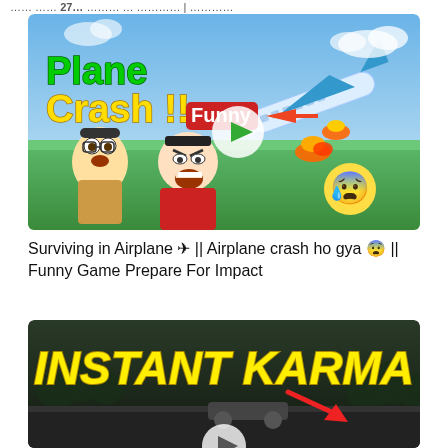....... .... 27... ....... ... ......... | ...........
[Figure (screenshot): YouTube video thumbnail: cartoon characters (Nobita and Shinchan style) looking scared at a burning airplane crashing. Text 'Plane Crash !!' in green/yellow, red badge 'Funny' with arrow, blue sky and green field background. Play button in center.]
Surviving in Airplane ✈ || Airplane crash ho gya 😨 || Funny Game Prepare For Impact
[Figure (screenshot): YouTube video thumbnail with dark outdoor background, bold yellow italic text 'INSTANT KARMA', red arrow pointing downward, partially visible play button circle at bottom.]